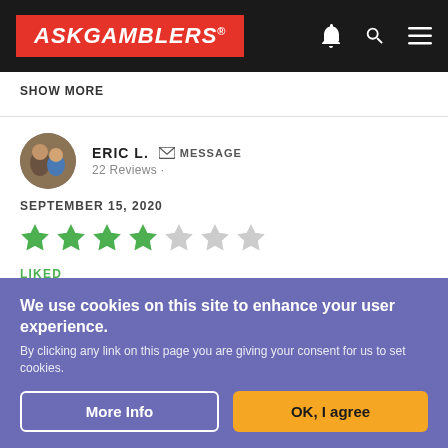[Figure (logo): AskGamblers logo in red box with white bold italic text, on dark header bar with bell, search, and menu icons]
SHOW MORE
ERIC L.  MESSAGE
22 Reviews ·
SEPTEMBER 15, 2020
[Figure (other): 5-star rating display showing 4 out of 7 stars filled in green]
LIKED
Fair welcome bonuses. Good support from kind and
We use cookies on this site to enhance your user experience.
By clicking any link on this page you are giving your consent for us to set cookies.
More Info
OK, I agree